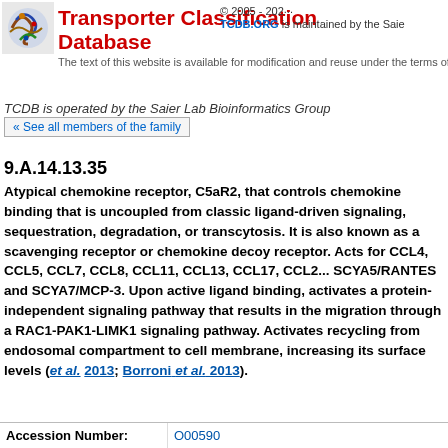Transporter Classification Database
© 2005 - 202... TCDB.ORG is maintained by the Saie...
The text of this website is available for modification and reuse under the terms of the Cr...
TCDB is operated by the Saier Lab Bioinformatics Group
« See all members of the family
9.A.14.13.35
Atypical chemokine receptor, C5aR2, that controls chem... binding that is uncoupled from classic ligand-driven sig... sequestration, degradation, or transcytosis. It is also kn... scavenging receptor or chemokine decoy receptor. Acts... CCL4, CCL5, CCL7, CCL8, CCL11, CCL13, CCL17, CCL2... SCYA5/RANTES and SCYA7/MCP-3. Upon active ligand... protein-independent signaling pathway that results in th... through a RAC1-PAK1-LIMK1 signaling pathway. Activa... endosomal compartment to cell membrane, increasing i... et al. 2013; Borroni et al. 2013).
| Accession Number: |  |
| --- | --- |
| Accession Number: | O00590 |